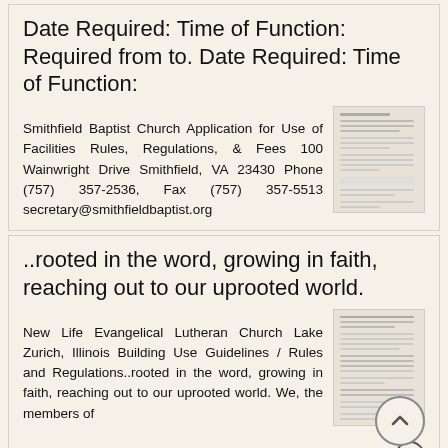Date Required: Time of Function: Required from to. Date Required: Time of Function:
Smithfield Baptist Church Application for Use of Facilities Rules, Regulations, & Fees 100 Wainwright Drive Smithfield, VA 23430 Phone (757) 357-2536, Fax (757) 357-5513 secretary@smithfieldbaptist.org
[Figure (screenshot): Thumbnail image of a document page with text content]
More information →
..rooted in the word, growing in faith, reaching out to our uprooted world.
New Life Evangelical Lutheran Church Lake Zurich, Illinois Building Use Guidelines / Rules and Regulations..rooted in the word, growing in faith, reaching out to our uprooted world. We, the members of
[Figure (screenshot): Thumbnail image of a document page with text content]
More information →